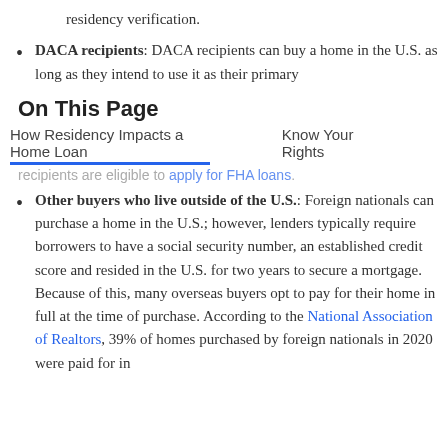residency verification.
DACA recipients: DACA recipients can buy a home in the U.S. as long as they intend to use it as their primary
On This Page
How Residency Impacts a Home Loan    Know Your Rights
recipients are eligible to apply for FHA loans.
Other buyers who live outside of the U.S.: Foreign nationals can purchase a home in the U.S.; however, lenders typically require borrowers to have a social security number, an established credit score and resided in the U.S. for two years to secure a mortgage. Because of this, many overseas buyers opt to pay for their home in full at the time of purchase. According to the National Association of Realtors, 39% of homes purchased by foreign nationals in 2020 were paid for in